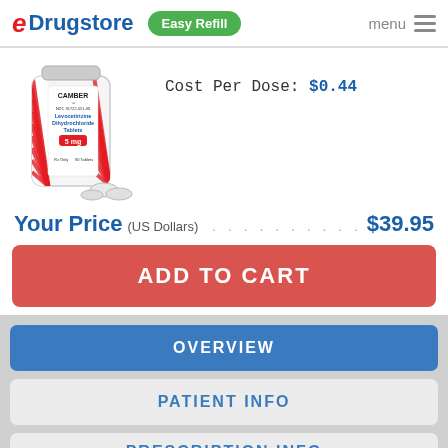eDrugstore  Easy Refill  menu
[Figure (photo): Camber Levocetirizine Dihydrochloride Tablets 5mg 90 Tablets prescription bottle with tablets in front]
Cost Per Dose: $0.44
Your Price (US Dollars) ...................... $39.95
ADD TO CART
OVERVIEW
PATIENT INFO
PRESCRIPTION INFO